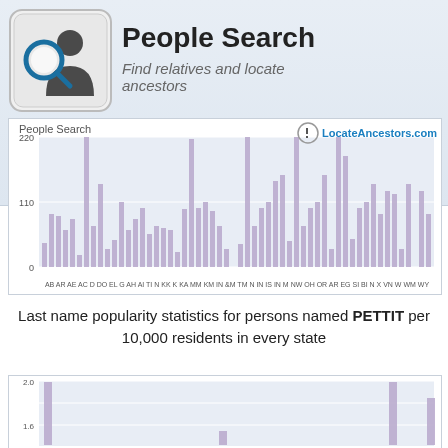[Figure (logo): People Search keyboard key logo with magnifying glass and person silhouette]
People Search
Find relatives and locate ancestors
[Figure (bar-chart): Bar chart showing people search frequency by first letter/name prefix. Y-axis 0 to 220, x-axis shows letter combinations. Many bars of varying heights.]
Last name popularity statistics for persons named PETTIT per 10,000 residents in every state
[Figure (bar-chart): Partial bar chart showing PETTIT last name popularity per 10,000 residents by state. Y-axis visible from 0 to 2.0, bars visible at left and right edges.]